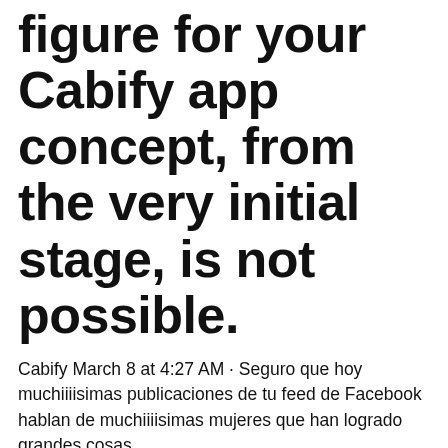figure for your Cabify app concept, from the very initial stage, is not possible.
Cabify March 8 at 4:27 AM · Seguro que hoy muchiiiisimas publicaciones de tu feed de Facebook hablan de muchiiiisimas mujeres que han logrado grandes cosas.
▷ Google Play:  title. subtitle button_register button_login button_login Discover Cabify. a